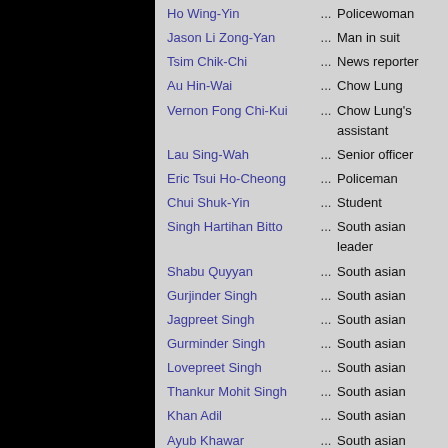Ho Wing-Yin ... Policewoman
Jason Li Zong-Yan ... Man in suit
Tsim Chik-Chi ... News reporter
Au Hin-Wai ... Chow Lung
Vernon Fong Chi-Kui ... Chow Lung's assistant
Lau Sing-Wah ... Senior officer
Eric Tsui Ho-Cheong ... Policeman
Chui Shuk-Yin ... Student
Singh Hartihan Bitto ... South asian leader
Shabu Quyyan ... South asian
Gurjinder Singh ... South asian
Jagpreet Singh ... South asian
Gurminder Singh ... South asian
Lovepreet Singh ... South asian
Thankur Mohit Singh ... South asian
Khan Adil ... South asian
Ayub Khawar ... South asian
Sajid Bilal ... South asian
Abbas Waseem ... South asian
Singh Tersem ... South asian
Hussain Jahanzeb ... South asian